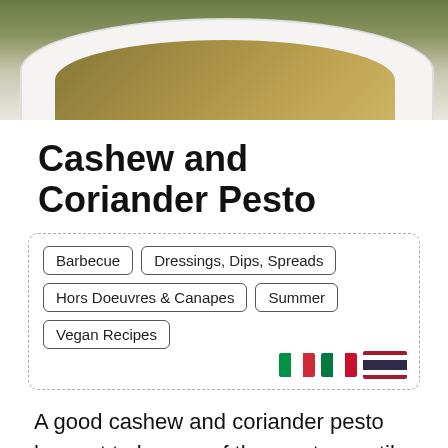[Figure (photo): Top portion of a white bowl containing cashew and coriander pesto, with green background]
Cashew and Coriander Pesto
Barbecue
Dressings, Dips, Spreads
Hors Doeuvres & Canapes
Summer
Vegan Recipes
A good cashew and coriander pesto has got to be one of the most versatile ingredients one can have in their fridge. Liven up that boring old sandwich, a welcome...